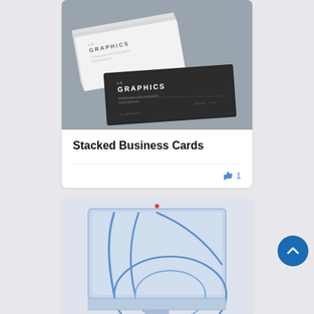[Figure (photo): Photo of stacked business cards in white and dark/black versions with LS GRAPHICS branding, on a gray background]
Stacked Business Cards
👍 1
[Figure (screenshot): Screenshot of an iMac computer with a blue abstract wallpaper showing curved lines on a light blue background]